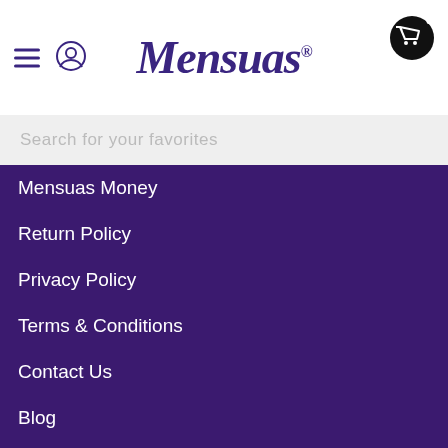Mensuas
Search for your favorites
Mensuas Money
Return Policy
Privacy Policy
Terms & Conditions
Contact Us
Blog
Magazine
Men's Underwear Styles
Swim Trunks